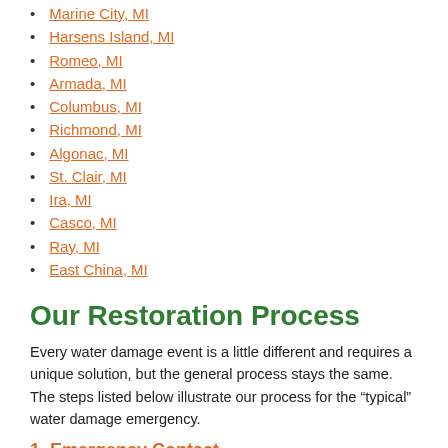Marine City, MI
Harsens Island, MI
Romeo, MI
Armada, MI
Columbus, MI
Richmond, MI
Algonac, MI
St. Clair, MI
Ira, MI
Casco, MI
Ray, MI
East China, MI
Our Restoration Process
Every water damage event is a little different and requires a unique solution, but the general process stays the same. The steps listed below illustrate our process for the “typical” water damage emergency.
1.  Emergency Contact
When you call us, our consultant will guide you through